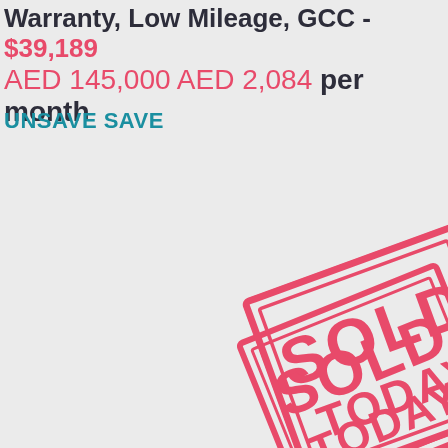Warranty, Low Mileage, GCC - $39,189 AED 145,000 AED 2,084 per month
UNSAVE SAVE
[Figure (other): A small vertical rectangle UI element (cursor or caret) in the center of the page]
[Figure (other): A rotated 'SOLD TODAY' stamp overlay in pink/red color at the bottom of the page]